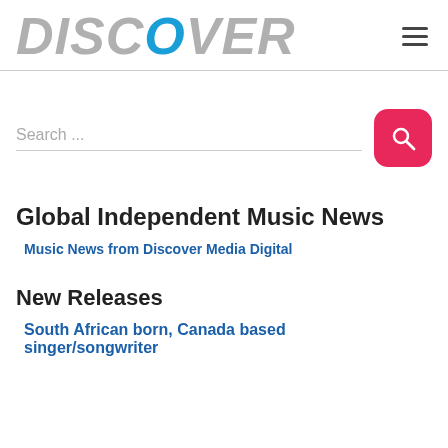DISCOVER
[Figure (other): Search bar with pink/red search button]
Global Independent Music News
Music News from Discover Media Digital
New Releases
South African born, Canada based singer/songwriter